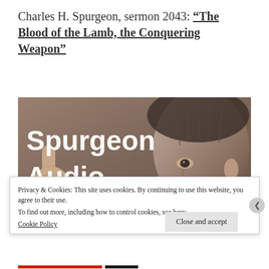Charles H. Spurgeon, sermon 2043: “The Blood of the Lamb, the Conquering Weapon”
[Figure (photo): Spurgeon Audio banner image showing a portrait of Charles Spurgeon pointing upward with one finger, overlaid with the text 'Spurgeon Audio' in large white bold letters]
Privacy & Cookies: This site uses cookies. By continuing to use this website, you agree to their use.
To find out more, including how to control cookies, see here:
Cookie Policy
Close and accept